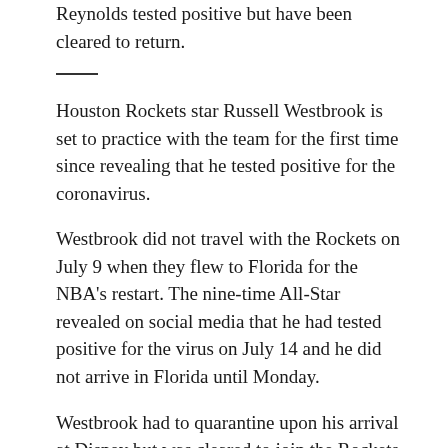Reynolds tested positive but have been cleared to return.
Houston Rockets star Russell Westbrook is set to practice with the team for the first time since revealing that he tested positive for the coronavirus.
Westbrook did not travel with the Rockets on July 9 when they flew to Florida for the NBA's restart. The nine-time All-Star revealed on social media that he had tested positive for the virus on July 14 and he did not arrive in Florida until Monday.
Westbrook had to quarantine upon his arrival at Disney but was cleared to join the Rockets for their practice on Wednesday.
He said his only symptom was a stuffy nose and that he's feeling great now and ready to get to work with the Rockets, who open the season July 31 against